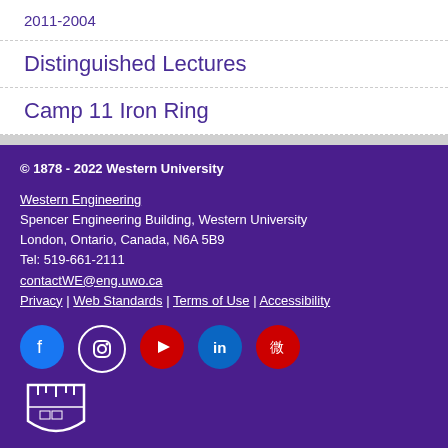2011-2004
Distinguished Lectures
Camp 11 Iron Ring
© 1878 - 2022 Western University
Western Engineering
Spencer Engineering Building, Western University
London, Ontario, Canada, N6A 5B9
Tel: 519-661-2111
contactWE@eng.uwo.ca
Privacy | Web Standards | Terms of Use | Accessibility